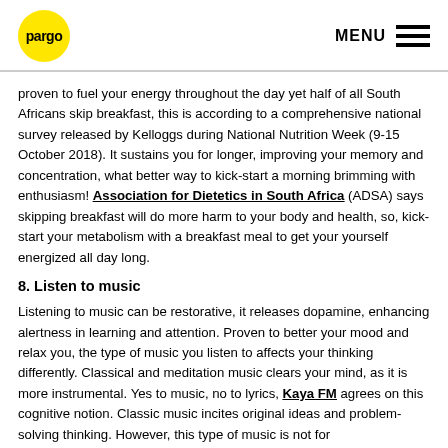pargo | MENU
proven to fuel your energy throughout the day yet half of all South Africans skip breakfast, this is according to a comprehensive national survey released by Kelloggs during National Nutrition Week (9-15 October 2018). It sustains you for longer, improving your memory and concentration, what better way to kick-start a morning brimming with enthusiasm! Association for Dietetics in South Africa (ADSA) says skipping breakfast will do more harm to your body and health, so, kick-start your metabolism with a breakfast meal to get your yourself energized all day long.
8. Listen to music
Listening to music can be restorative, it releases dopamine, enhancing alertness in learning and attention. Proven to better your mood and relax you, the type of music you listen to affects your thinking differently. Classical and meditation music clears your mind, as it is more instrumental. Yes to music, no to lyrics, Kaya FM agrees on this cognitive notion. Classic music incites original ideas and problem-solving thinking. However, this type of music is not for